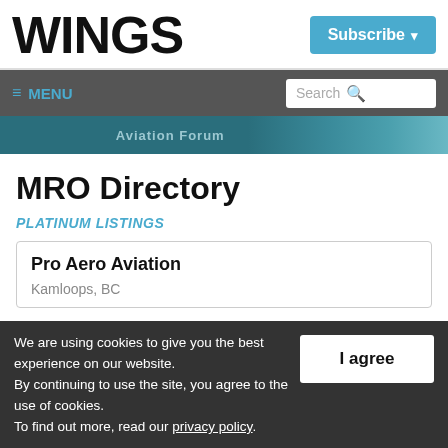WINGS
Subscribe
≡ MENU | Search
[Figure (screenshot): Partial banner image showing 'Aviation Forum' text with dark blue/teal background and aircraft silhouette]
MRO Directory
PLATINUM LISTINGS
Pro Aero Aviation
Kamloops, BC
We are using cookies to give you the best experience on our website.
By continuing to use the site, you agree to the use of cookies.
To find out more, read our privacy policy.
I agree